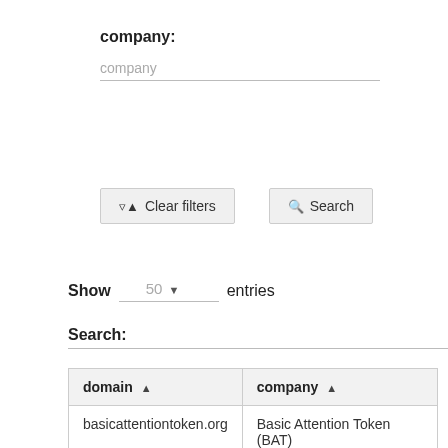company:
company
[Figure (screenshot): Clear filters and Search buttons]
Show 50 entries
Search:
| domain ▲ | company ▲ |
| --- | --- |
| basicattentiontoken.org | Basic Attention Token (BAT) |